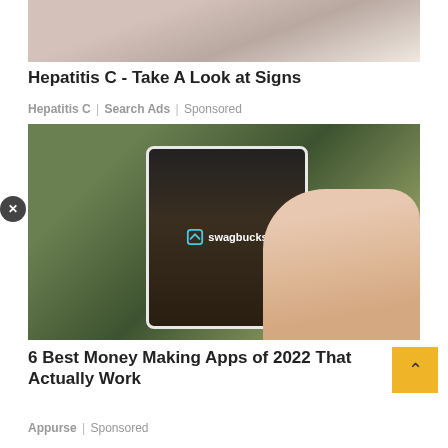[Figure (photo): Person holding abdomen, medical/health image cropped at top]
Hepatitis C - Take A Look at Signs
Hepatitis C | Search Ads | Sponsored
[Figure (photo): Hand holding a smartphone displaying the Swagbucks app logo on screen, with green grass background]
6 Best Money Making Apps of 2022 That Actually Work
Appurse | Sponsored